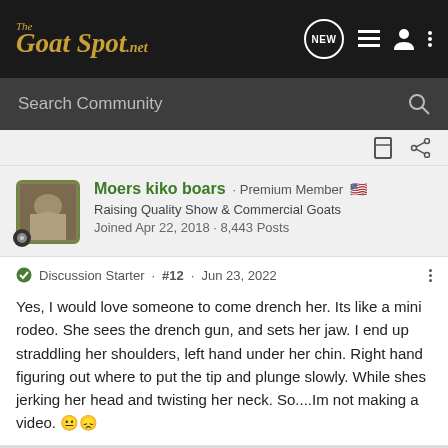The Goat Spot .net
Search Community
Moers kiko boars · Premium Member 🇺🇸
Raising Quality Show & Commercial Goats
Joined Apr 22, 2018 · 8,443 Posts
Discussion Starter · #12 · Jun 23, 2022
Yes, I would love someone to come drench her. Its like a mini rodeo. She sees the drench gun, and sets her jaw. I end up straddling her shoulders, left hand under her chin. Right hand figuring out where to put the tip and plunge slowly. While shes jerking her head and twisting her neck. So....Im not making a video. 😐😞